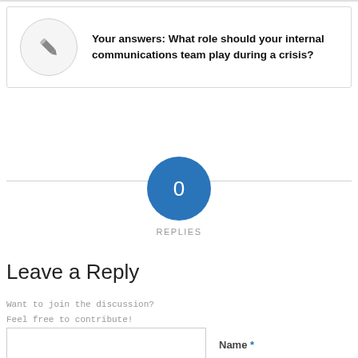Your answers: What role should your internal communications team play during a crisis?
0 REPLIES
Leave a Reply
Want to join the discussion?
Feel free to contribute!
Name *